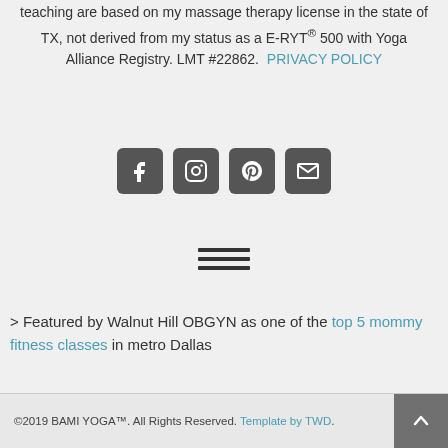teaching are based on my massage therapy license in the state of TX, not derived from my status as a E-RYT® 500 with Yoga Alliance Registry. LMT #22862.  PRIVACY POLICY
[Figure (infographic): Four social media icons in rounded square boxes: Facebook, Instagram, Pinterest, Email/envelope]
[Figure (infographic): Hamburger menu icon with three horizontal lines]
> Featured by Walnut Hill OBGYN as one of the top 5 mommy fitness classes in metro Dallas
©2019 BAMI YOGA™. All Rights Reserved. Template by TWD.